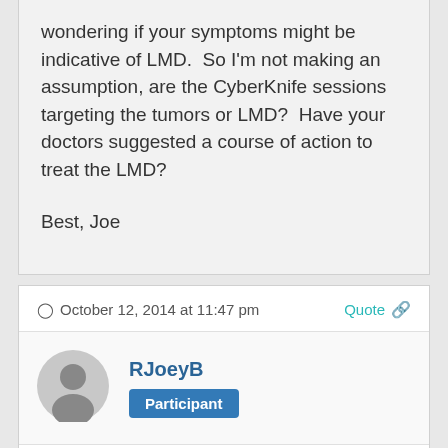wondering if your symptoms might be indicative of LMD.  So I'm not making an assumption, are the CyberKnife sessions targeting the tumors or LMD?  Have your doctors suggested a course of action to treat the LMD?

Best, Joe
October 12, 2014 at 11:47 pm
RJoeyB
Participant
Kali, my apologies…  from your post, I didn't realize